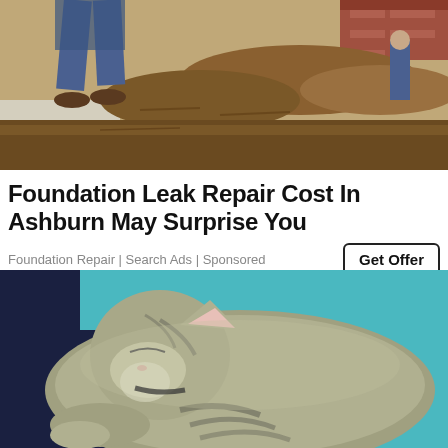[Figure (photo): Outdoor excavation/foundation work scene showing person digging in dirt, brown soil mounds visible, brick wall in background]
Foundation Leak Repair Cost In Ashburn May Surprise You
Foundation Repair | Search Ads | Sponsored
[Figure (photo): Close-up photo of a tabby cat sleeping/resting curled up, gray striped fur, held against blue fabric and dark navy clothing]